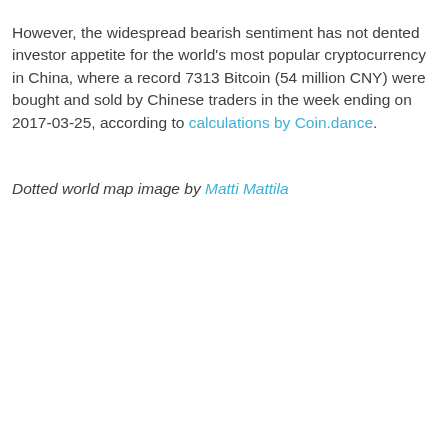However, the widespread bearish sentiment has not dented investor appetite for the world's most popular cryptocurrency in China, where a record 7313 Bitcoin (54 million CNY) were bought and sold by Chinese traders in the week ending on 2017-03-25, according to calculations by Coin.dance.
Dotted world map image by Matti Mattila